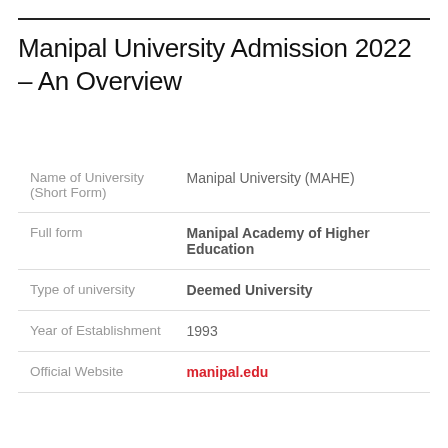Manipal University Admission 2022 – An Overview
|  |  |
| --- | --- |
| Name of University (Short Form) | Manipal University (MAHE) |
| Full form | Manipal Academy of Higher Education |
| Type of university | Deemed University |
| Year of Establishment | 1993 |
| Official Website | manipal.edu |